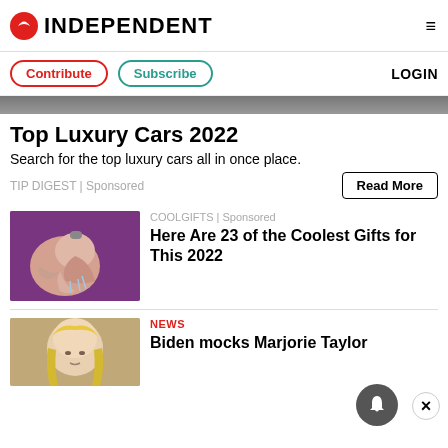INDEPENDENT
Contribute | Subscribe | LOGIN
Top Luxury Cars 2022
Search for the top luxury cars all in once place.
TIP DIGEST | Sponsored
[Figure (photo): Hand with ring under running water]
COOLGIFTS | Sponsored
Here Are 23 of the Coolest Gifts for This 2022
NEWS
Biden mocks Marjorie Taylor